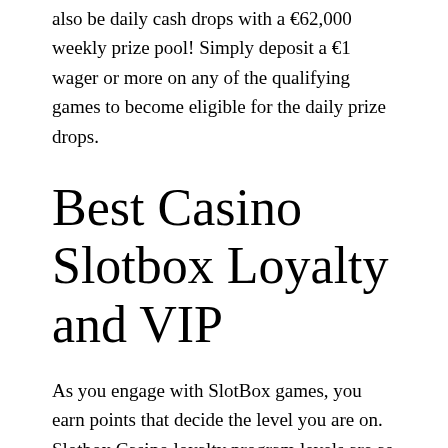also be daily cash drops with a €62,000 weekly prize pool! Simply deposit a €1 wager or more on any of the qualifying games to become eligible for the daily prize drops.
Best Casino Slotbox Loyalty and VIP
As you engage with SlotBox games, you earn points that decide the level you are on. Slotbox Casino loyalty program levels are as follows:
Silver – Make your first deposit
Gold – 5,000 Points
Platinum – 20,000 Points